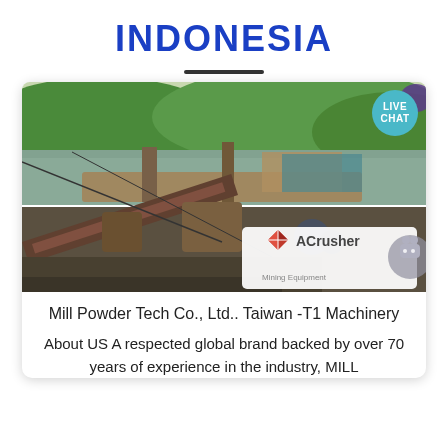INDONESIA
[Figure (photo): Industrial mining/crushing equipment on a barge or riverbank, with conveyor belts, crushers, and heavy machinery. River and green hills visible in background. ACrusher Mining Equipment logo overlay in bottom-right corner.]
Mill Powder Tech Co., Ltd.. Taiwan -T1 Machinery
About US A respected global brand backed by over 70 years of experience in the industry, MILL